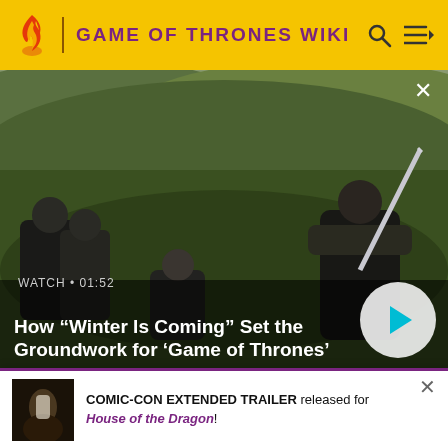GAME OF THRONES WIKI
[Figure (screenshot): Game of Thrones scene showing Ned Stark holding a sword on a green hillside with other characters nearby. WATCH • 01:52 label and video title overlay at bottom.]
How "Winter Is Coming" Set the Groundwork for 'Game of Thrones'
[Figure (photo): Two thumbnail images below the main video: left shows a close-up of a young character's face, right shows an icy/stone background scene.]
COMIC-CON EXTENDED TRAILER released for House of the Dragon!